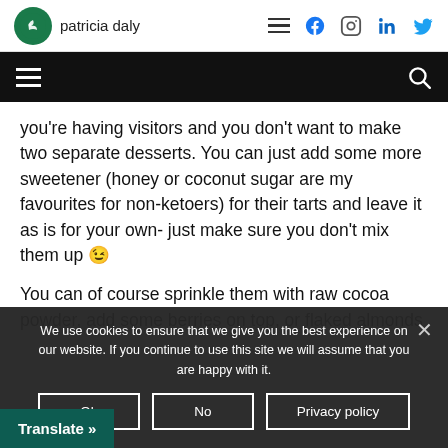patricia daly
you're having visitors and you don't want to make two separate desserts. You can just add some more sweetener (honey or coconut sugar are my favourites for non-ketoers) for their tarts and leave it as is for your own- just make sure you don't mix them up 😉
You can of course sprinkle them with raw cocoa powder, add some berries on top, or flaked almonds
We use cookies to ensure that we give you the best experience on our website. If you continue to use this site we will assume that you are happy with it.
Ok | No | Privacy policy
Translate »